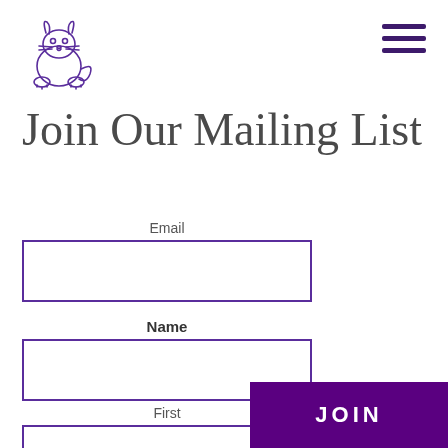[Figure (logo): Purple hand-drawn cat/rabbit creature logo in top left corner]
Join Our Mailing List
Email
Name
First
Last
JOIN